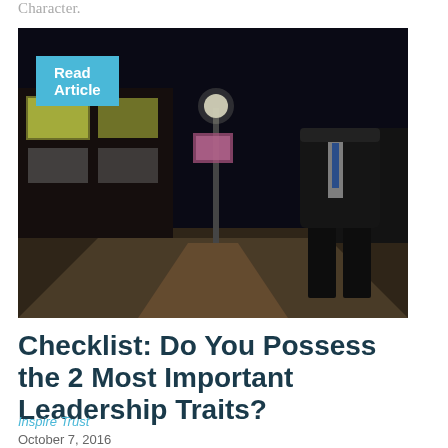Character.
Read Article
[Figure (photo): A man in a dark suit standing on a sidewalk at night, with a lit street and storefronts in the background]
Checklist: Do You Possess the 2 Most Important Leadership Traits?
Inspire Trust
October 7, 2016